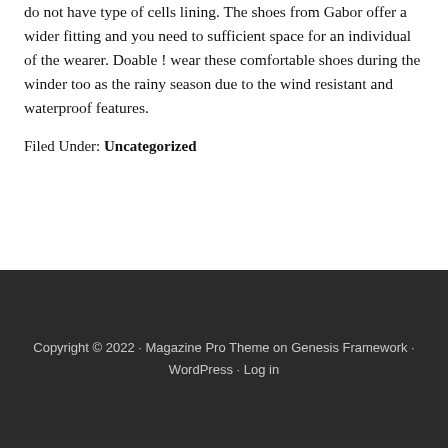do not have type of cells lining. The shoes from Gabor offer a wider fitting and you need to sufficient space for an individual of the wearer. Doable ! wear these comfortable shoes during the winder too as the rainy season due to the wind resistant and waterproof features.
Filed Under: Uncategorized
Copyright © 2022 · Magazine Pro Theme on Genesis Framework · WordPress · Log in